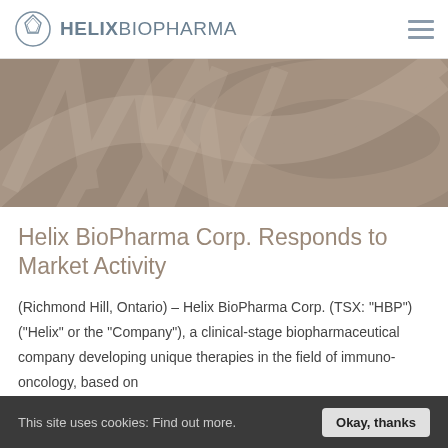HELIX BIOPHARMA
[Figure (illustration): Decorative banner with taupe/brown background featuring abstract helix/DNA pattern watermark]
Helix BioPharma Corp. Responds to Market Activity
(Richmond Hill, Ontario) – Helix BioPharma Corp. (TSX: "HBP") ("Helix" or the "Company"), a clinical-stage biopharmaceutical company developing unique therapies in the field of immuno-oncology, based on
This site uses cookies: Find out more. Okay, thanks